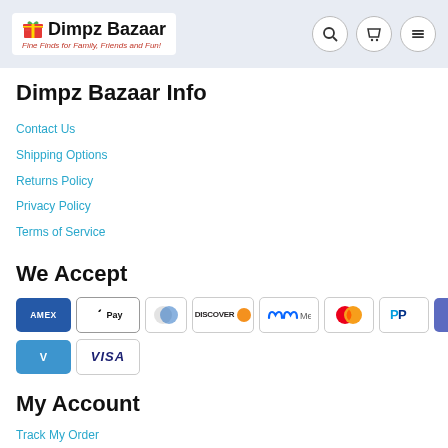Dimpz Bazaar — Fine Finds for Family, Friends and Fun!
Dimpz Bazaar Info
Contact Us
Shipping Options
Returns Policy
Privacy Policy
Terms of Service
We Accept
[Figure (other): Payment method logos: AMEX, Apple Pay, Diners Club, Discover, Meta Pay, Mastercard, PayPal, Shop Pay, Venmo, Visa]
My Account
Track My Order